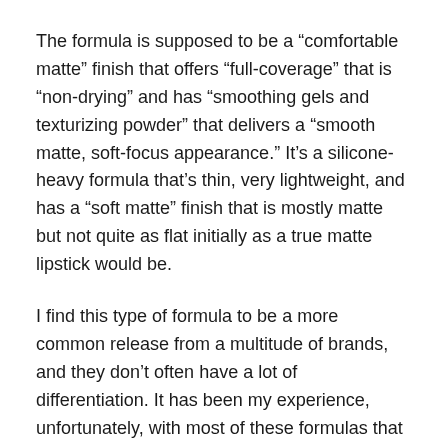The formula is supposed to be a “comfortable matte” finish that offers “full-coverage” that is “non-drying” and has “smoothing gels and texturizing powder” that delivers a “smooth matte, soft-focus appearance.” It’s a silicone-heavy formula that’s thin, very lightweight, and has a “soft matte” finish that is mostly matte but not quite as flat initially as a true matte lipstick would be.
I find this type of formula to be a more common release from a multitude of brands, and they don’t often have a lot of differentiation. It has been my experience, unfortunately, with most of these formulas that they tend to emphasize lip texture and imperfections–particularly catching around flakes, even minor dryness–and separate into lip lines as they wear down. The lighter shades tend to be the worst-applying and worst-performing, while more mid-tone and deeper shades can apply more smoothly and be more flattering on.